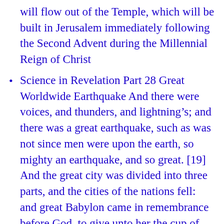will flow out of the Temple, which will be built in Jerusalem immediately following the Second Advent during the Millennial Reign of Christ
Science in Revelation Part 28 Great Worldwide Earthquake And there were voices, and thunders, and lightning’s; and there was a great earthquake, such as was not since men were upon the earth, so mighty an earthquake, and so great. [19] And the great city was divided into three parts, and the cities of the nations fell: and great Babylon came in remembrance before God, to give unto her the cup of the wine of the fierceness of his wrath. Revelation 16:18, 19.